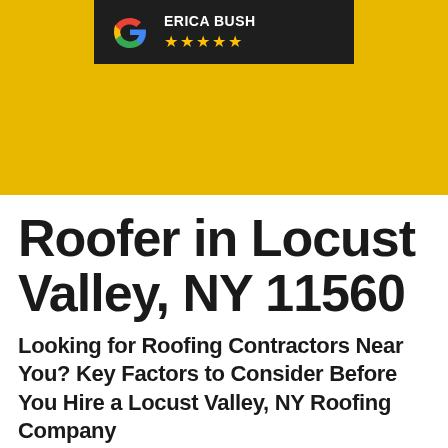[Figure (infographic): Google review badge on dark background showing reviewer name 'ERICA BUSH' with 5 gold stars, displayed over a yellow background section]
Roofer in Locust Valley, NY 11560
Looking for Roofing Contractors Near You? Key Factors to Consider Before You Hire a Locust Valley, NY Roofing Company